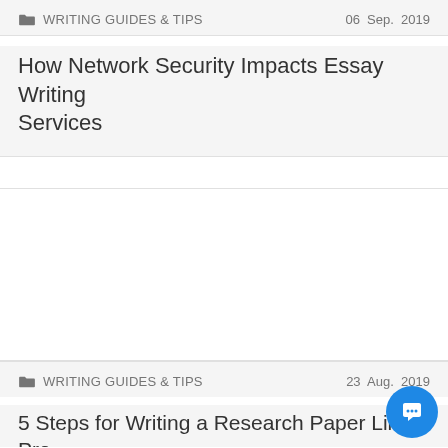WRITING GUIDES & TIPS | 06 Sep. 2019
How Network Security Impacts Essay Writing Services
[Figure (other): White advertisement or image block]
WRITING GUIDES & TIPS | 23 Aug. 2019
5 Steps for Writing a Research Paper Like a Pro
[Figure (other): White advertisement or image block with chat button]